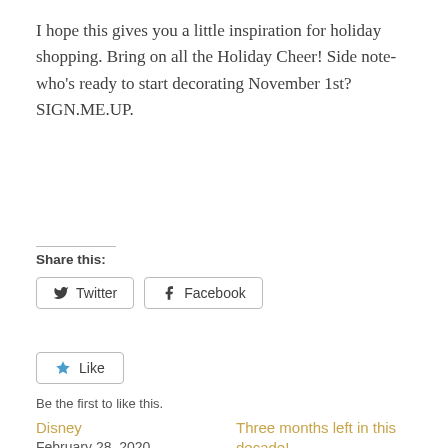I hope this gives you a little inspiration for holiday shopping. Bring on all the Holiday Cheer! Side note- who's ready to start decorating November 1st? SIGN.ME.UP.
Share this:
Twitter  Facebook
Like
Be the first to like this.
Disney
February 28, 2020
In "Motherhood"
Three months left in this decade!
October 10, 2019
In "Motherhood"